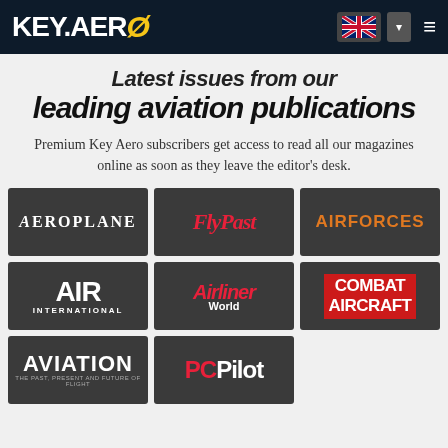KEY.AERO
Latest issues from our leading aviation publications
Premium Key Aero subscribers get access to read all our magazines online as soon as they leave the editor's desk.
[Figure (logo): Aeroplane magazine logo on dark background]
[Figure (logo): FlyPast magazine logo on dark background]
[Figure (logo): AirForces Monthly magazine logo on dark background]
[Figure (logo): Air International magazine logo on dark background]
[Figure (logo): Airliner World magazine logo on dark background]
[Figure (logo): Combat Aircraft magazine logo on dark background]
[Figure (logo): Aviation magazine logo on dark background]
[Figure (logo): PC Pilot magazine logo on dark background]